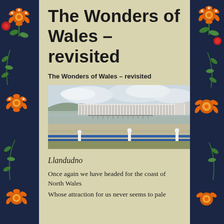The Wonders of Wales – revisited
The Wonders of Wales – revisited
[Figure (photo): Panoramic coastal photo of Llandudno showing sandy beach, Victorian seafront buildings in white, blue railings in foreground, overcast sky]
Llandudno
Once again we have headed for the coast of North Wales
Whose attraction for us never seems to pale